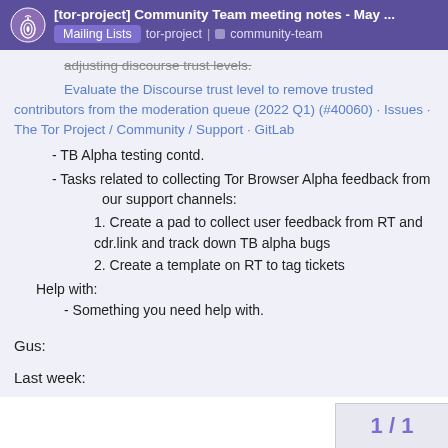[tor-project] Community Team meeting notes - May ... | Mailing Lists | tor-project | community-team
adjusting discourse trust levels.
Evaluate the Discourse trust level to remove trusted contributors from the moderation queue (2022 Q1) (#40060) · Issues · The Tor Project / Community / Support · GitLab
- TB Alpha testing contd.
- Tasks related to collecting Tor Browser Alpha feedback from our support channels:
1. Create a pad to collect user feedback from RT and cdr.link and track down TB alpha bugs
2. Create a template on RT to tag tickets
Help with:
- Something you need help with.
Gus:
Last week:
1 / 1